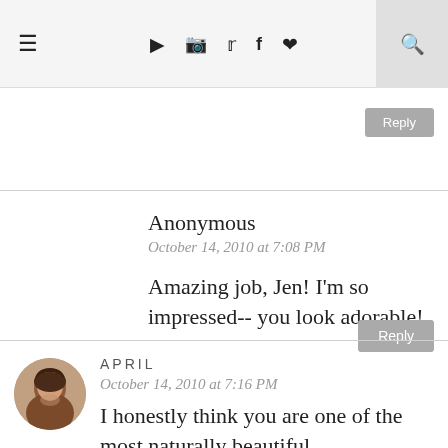≡ ▶ 📷 🐦 f ♥ 🔍
Reply
Anonymous
October 14, 2010 at 7:08 PM
Amazing job, Jen! I'm so impressed-- you look adorable!
Reply
[Figure (photo): Circular avatar photo of April, a woman with dark hair]
APRIL
October 14, 2010 at 7:16 PM
I honestly think you are one of the most naturally beautiful